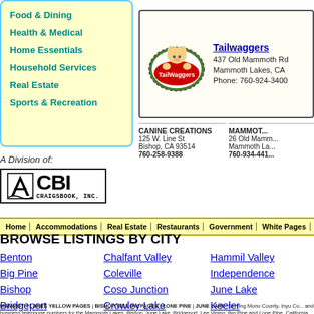Food & Dining
Health & Medical
Home Essentials
Household Services
Real Estate
Sports & Recreation
[Figure (logo): Tailwaggers pet store advertisement with logo showing a cartoon dog, address 437 Old Mammoth Rd, Mammoth Lakes, CA, Phone: 760-924-3400]
CANINE CREATIONS
125 W. Line St
Bishop, CA 93514
760-258-9388
MAMMOTH
26 Old Mamm...
Mammoth La...
760-934-441...
[Figure (logo): A Division of: CBI Craigsbook, Inc. logo with stylized A icon]
Home | Accommodations | Real Estate | Restaurants | Government | White Pages | Advertiser Logi...
BROWSE LISTINGS BY CITY
Benton
Big Pine
Bishop
Bridgeport
Chalfant Valley
Coleville
Coso Junction
Crowley Lake
Hammil Valley
Independence
June Lake
Keeler
MAMMOTH LAKES YELLOW PAGES | BISHOP YELLOW PAGES | LONE PINE | JUNE LAKE: Serving Mono County, Inyo Co... and business telephone numbers for the Mammoth Lakes, Bishop, June Lake, Bridgeport, Lee Vining, Big Pine and Lone Pine, California a... offices or entertainment listings in the Mammoth Mountain recreation area, and you will find what you need in our online business phonebo... Mono County, CA and Inyo County, CA.